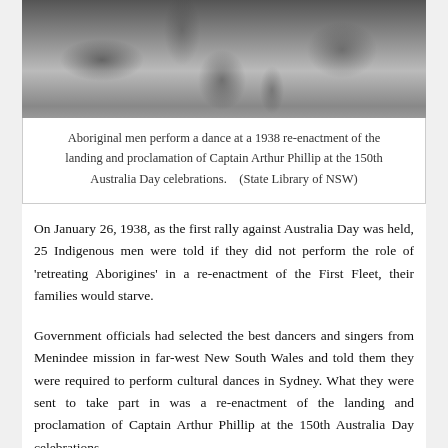[Figure (photo): Black and white historical photograph showing Aboriginal men performing a dance, partially visible at top of page]
Aboriginal men perform a dance at a 1938 re-enactment of the landing and proclamation of Captain Arthur Phillip at the 150th Australia Day celebrations.    (State Library of NSW)
On January 26, 1938, as the first rally against Australia Day was held, 25 Indigenous men were told if they did not perform the role of 'retreating Aborigines' in a re-enactment of the First Fleet, their families would starve.
Government officials had selected the best dancers and singers from Menindee mission in far-west New South Wales and told them they were required to perform cultural dances in Sydney. What they were sent to take part in was a re-enactment of the landing and proclamation of Captain Arthur Phillip at the 150th Australia Day celebrations.
Ngiyaampaa elder Dr Beryl (Yunghadhu) Philp Carmichael, born and raised on the mission, was only three at the time,